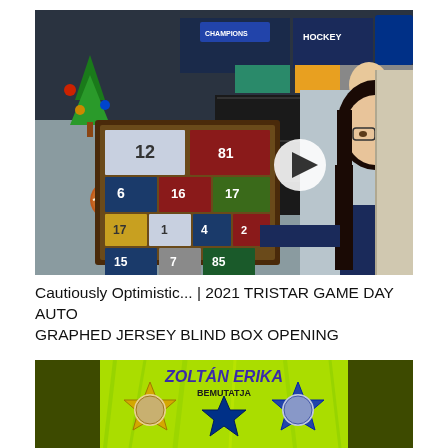[Figure (screenshot): Video thumbnail showing a young woman with dark hair and glasses holding a framed sports jersey collection display with numbers 12, 6, 16, 17, 1, 4, 15, 7, 85 etc., with Christmas decorations and collectibles in the background. A white circular play button overlay is visible in the center of the image.]
Cautiously Optimistic... | 2021 TRISTAR GAME DAY AUTOGRAPHED JERSEY BLIND BOX OPENING
[Figure (screenshot): Video thumbnail with olive green background showing a yellow-green sports card or promotional graphic with 'ZOLTÁN ERIKA BEMUTATJA' text in blue/purple letters, star shapes, and what appears to be a Dallas Cowboys star logo in the center.]